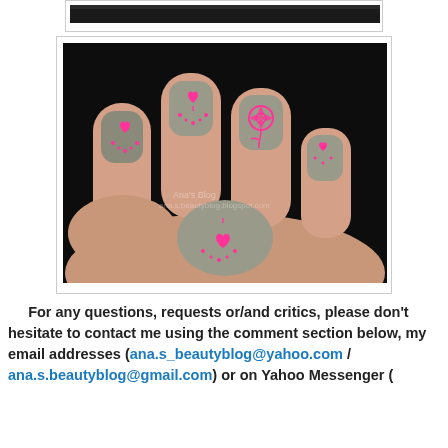[Figure (photo): Partial top of a previous photo showing dark background, cut off at top of page]
[Figure (photo): Close-up photo of a hand showing nails painted gray/taupe with pink floral and heart nail art designs, on a black background]
For any questions, requests or/and critics, please don't hesitate to contact me using the comment section below, my email addresses (ana.s_beautyblog@yahoo.com / ana.s.beautyblog@gmail.com) or on Yahoo Messenger (ana.s_beautyblog@yahoo.com)